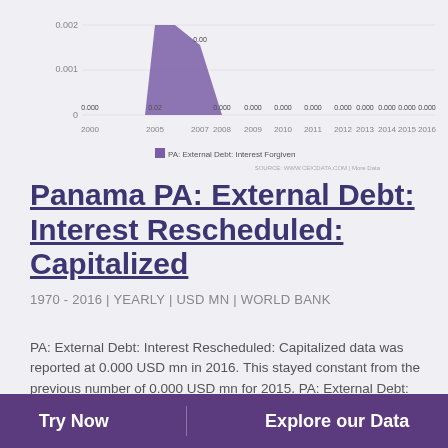[Figure (bar-chart): PA: External Debt: Interest Forgiven]
Panama PA: External Debt: Interest Rescheduled: Capitalized
1970 - 2016 | YEARLY | USD MN | WORLD BANK
PA: External Debt: Interest Rescheduled: Capitalized data was reported at 0.000 USD mn in 2016. This stayed constant from the previous number of 0.000 USD mn for 2015. PA: External Debt: Interest Rescheduled: Capitalized data is updated yearly, averaging 0.000 USD mn from Dec 1970 to 2016, with 47 observations. The data reached an all-time high of 1.450 USD mn in 1998 and a record low of 0.000 USD mn in 2016. PA:
Try Now   Explore our Data